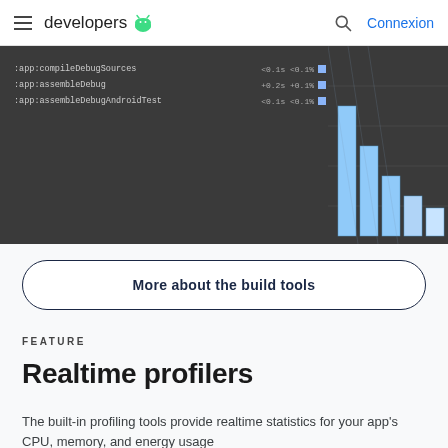developers | Connexion
[Figure (screenshot): Android Studio Build Analyzer screenshot showing build tasks :app:compileDebugSources, :app:assembleDebug, :app:assembleDebugAndroidTest with timing values and a blue bar chart on the right side]
More about the build tools
FEATURE
Realtime profilers
The built-in profiling tools provide realtime statistics for your app's CPU, memory, and energy usage